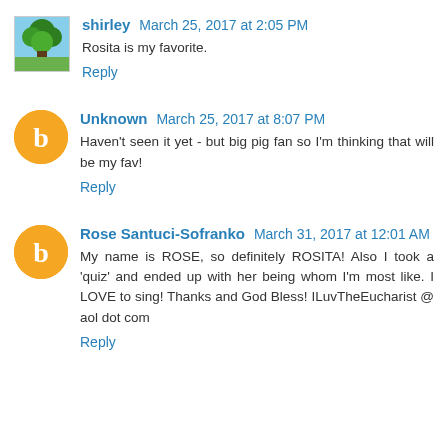shirley  March 25, 2017 at 2:05 PM
Rosita is my favorite.
Reply
Unknown  March 25, 2017 at 8:07 PM
Haven't seen it yet - but big pig fan so I'm thinking that will be my fav!
Reply
Rose Santuci-Sofranko  March 31, 2017 at 12:01 AM
My name is ROSE, so definitely ROSITA! Also I took a 'quiz' and ended up with her being whom I'm most like. I LOVE to sing! Thanks and God Bless! ILuvTheEucharist @ aol dot com
Reply